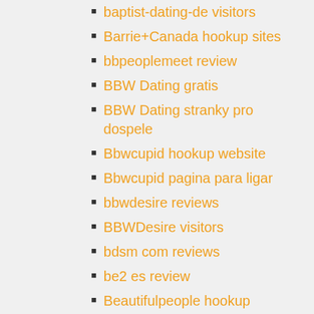baptist-dating-de visitors
Barrie+Canada hookup sites
bbpeoplemeet review
BBW Dating gratis
BBW Dating stranky pro dospele
Bbwcupid hookup website
Bbwcupid pagina para ligar
bbwdesire reviews
BBWDesire visitors
bdsm com reviews
be2 es review
Beautifulpeople hookup websites
beetalk cs review
beetalk es reviews
Behin DErte Dating Gutscheincode